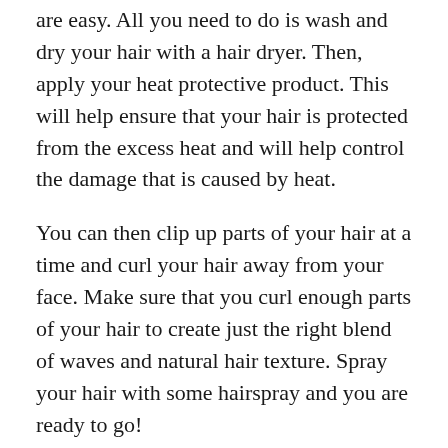are easy. All you need to do is wash and dry your hair with a hair dryer. Then, apply your heat protective product. This will help ensure that your hair is protected from the excess heat and will help control the damage that is caused by heat.
You can then clip up parts of your hair at a time and curl your hair away from your face. Make sure that you curl enough parts of your hair to create just the right blend of waves and natural hair texture. Spray your hair with some hairspray and you are ready to go!
The good news is that once you get the hang of it, these soft waves look cool, like you just untied your hair after a trip to the beach, but they also look put